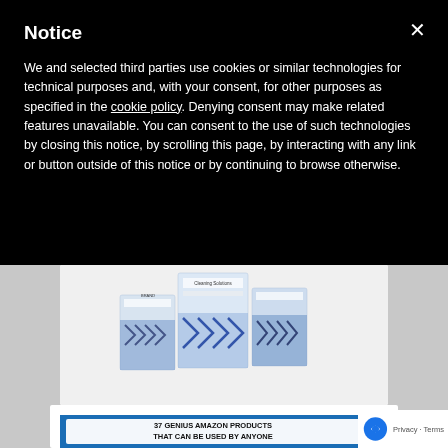Notice
We and selected third parties use cookies or similar technologies for technical purposes and, with your consent, for other purposes as specified in the cookie policy. Denying consent may make related features unavailable. You can consent to the use of such technologies by closing this notice, by scrolling this page, by interacting with any link or button outside of this notice or by continuing to browse otherwise.
[Figure (photo): Product packages with blue geometric pattern design, fanned out on a white background]
[Figure (screenshot): Advertisement banner reading '37 GENIUS AMAZON PRODUCTS THAT CAN BE USED BY ANYONE' with blue background and white bold text]